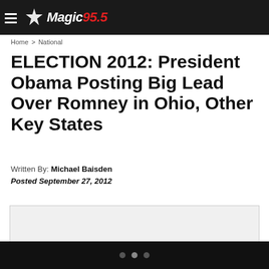Magic 95.5
Home > National
ELECTION 2012: President Obama Posting Big Lead Over Romney in Ohio, Other Key States
Written By: Michael Baisden
Posted September 27, 2012
[Figure (other): Magic 95.5 Featured Video placeholder box]
Navigation dots